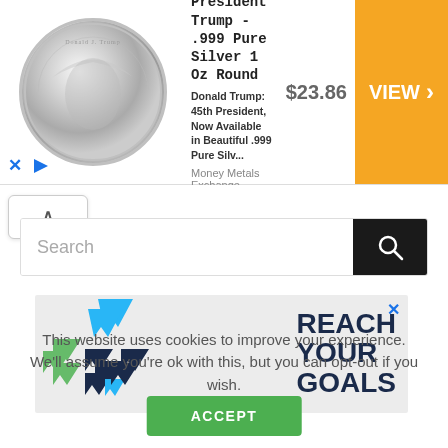[Figure (screenshot): Advertisement banner for President Trump .999 Pure Silver 1 Oz Round coin showing a silver coin image, product title, description, price $23.86, and orange VIEW button]
[Figure (screenshot): Search bar with toggle button showing upward chevron and a search input field with magnifying glass icon on black background]
[Figure (screenshot): Advertisement banner with colorful chevron/arrow logo shapes (blue, green, dark navy) and text REACH YOUR GOALS in bold dark navy]
This website uses cookies to improve your experience. We'll assume you're ok with this, but you can opt-out if you wish.
[Figure (screenshot): Green ACCEPT button for cookie consent]